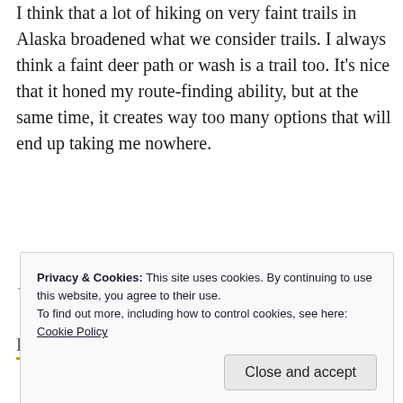I think that a lot of hiking on very faint trails in Alaska broadened what we consider trails. I always think a faint deer path or wash is a trail too. It’s nice that it honed my route-finding ability, but at the same time, it creates way too many options that will end up taking me nowhere.
★ Like
Reply
Privacy & Cookies: This site uses cookies. By continuing to use this website, you agree to their use.
To find out more, including how to control cookies, see here: Cookie Policy
Close and accept